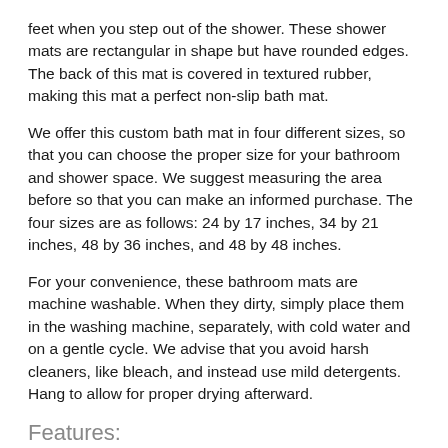feet when you step out of the shower. These shower mats are rectangular in shape but have rounded edges. The back of this mat is covered in textured rubber, making this mat a perfect non-slip bath mat.
We offer this custom bath mat in four different sizes, so that you can choose the proper size for your bathroom and shower space. We suggest measuring the area before so that you can make an informed purchase. The four sizes are as follows: 24 by 17 inches, 34 by 21 inches, 48 by 36 inches, and 48 by 48 inches.
For your convenience, these bathroom mats are machine washable. When they dirty, simply place them in the washing machine, separately, with cold water and on a gentle cycle. We advise that you avoid harsh cleaners, like bleach, and instead use mild detergents. Hang to allow for proper drying afterward.
Features:
Plush microfiber top displays customization
Memory foam middle for extra comfort
Textured rubber backing to reduce slipping